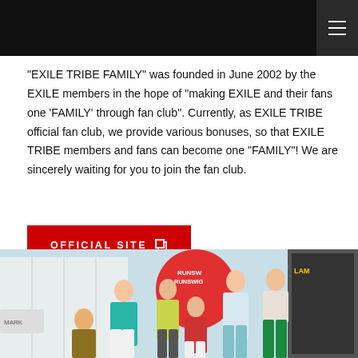[Navigation header with hamburger menu]
"EXILE TRIBE FAMILY" was founded in June 2002 by the EXILE members in the hope of "making EXILE and their fans one 'FAMILY' through fan club". Currently, as EXILE TRIBE official fan club, we provide various bonuses, so that EXILE TRIBE members and fans can become one "FAMILY"! We are sincerely waiting for you to join the fan club.
[Figure (other): Red button labeled OFFICIAL SITE with external link icon]
[Figure (photo): Group photo of five young men posed in front of a Brunswick-branded backdrop with colorful signs, wearing casual summer outfits in teal, yellow, red, and green]